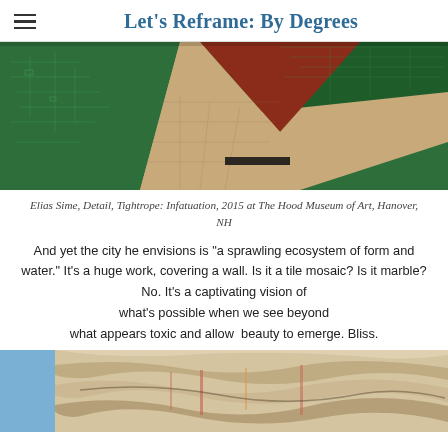Let's Reframe: By Degrees
[Figure (photo): Aerial photograph detail of Elias Sime's Tightrope: Infatuation artwork showing circuit boards and maps in greens, reds, and tans arranged in geometric patterns.]
Elias Sime, Detail, Tightrope: Infatuation, 2015 at The Hood Museum of Art, Hanover, NH
And yet the city he envisions is "a sprawling ecosystem of form and water." It's a huge work, covering a wall. Is it a tile mosaic? Is it marble? No. It's a captivating vision of what's possible when we see beyond what appears toxic and allow  beauty to emerge. Bliss.
[Figure (photo): Close-up photograph of a textured woven or layered artwork with earthy tones showing strands and strips of material.]